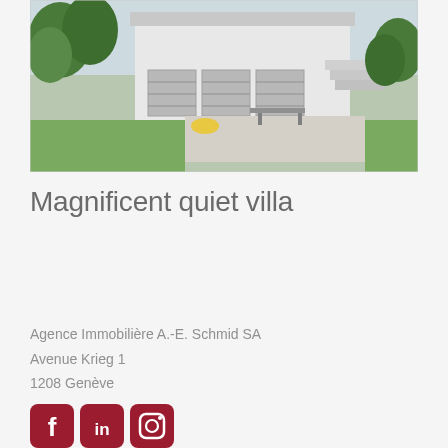[Figure (photo): Exterior photo of a modern white villa with garage doors, green lawn, patio, and surrounding trees]
Magnificent quiet villa
Agence Immobilière A.-E. Schmid SA
Avenue Krieg 1
1208 Genève
[Figure (other): Social media icons: Facebook, LinkedIn, Instagram (dark red/maroon colored rounded square icons)]